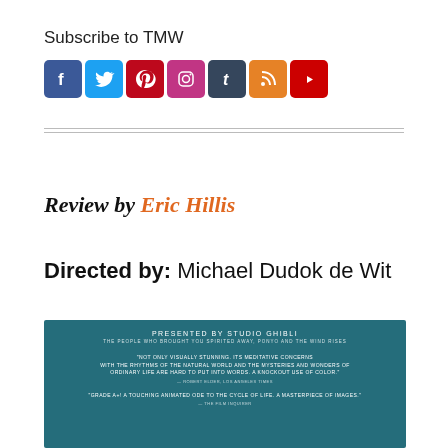Subscribe to TMW
[Figure (infographic): Social media icons: Facebook (blue), Twitter (light blue), Pinterest (red), Instagram (purple/pink gradient), Tumblr (dark blue), RSS (orange), YouTube (red)]
Review by Eric Hillis
Directed by: Michael Dudok de Wit
[Figure (photo): Movie poster with teal/dark blue background. Text: PRESENTED BY STUDIO GHIBLI, THE PEOPLE WHO BROUGHT YOU SPIRITED AWAY, PONYO AND THE WIND RISES. Quotes: 'NOT ONLY VISUALLY STUNNING. ITS MEDITATIVE CONCERNS WITH THE RHYTHMS OF THE NATURAL WORLD AND THE MYSTERIES AND WONDERS OF ORDINARY LIFE ARE HARD TO PUT INTO WORDS. A KNOCKOUT USE OF COLOR.' - ROBERT ELDER, LOS ANGELES TIMES. 'GRADE A+! A TOUCHING ANIMATED ODE TO THE CYCLE OF LIFE. A MASTERPIECE OF IMAGES.' - THE FILM INQUIRER]